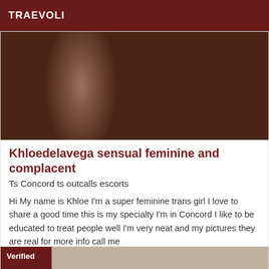TRAEVOLI
[Figure (photo): Close-up photograph with dark brown tones]
Khloedelavega sensual feminine and complacent
Ts Concord ts outcalls escorts
Hi My name is Khloe I'm a super feminine trans girl I love to share a good time this is my specialty I'm in Concord I like to be educated to treat people well I'm very neat and my pictures they are real for more info call me
[Figure (photo): Second listing card with Verified badge]